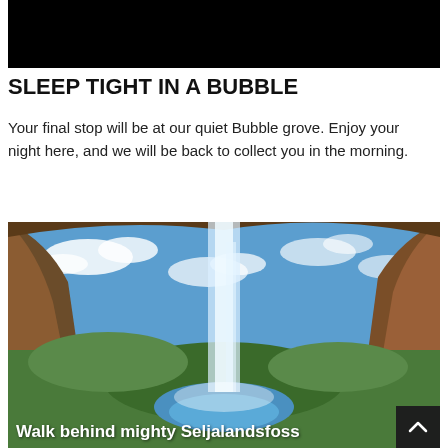[Figure (photo): Dark/black top portion of an image, likely a night scene]
SLEEP TIGHT IN A BUBBLE
Your final stop will be at our quiet Bubble grove. Enjoy your night here, and we will be back to collect you in the morning.
[Figure (photo): View from behind a tall waterfall (Seljalandsfoss, Iceland), looking out through a cave opening at a blue sky with clouds and green valley below]
Walk behind mighty Seljalandsfoss